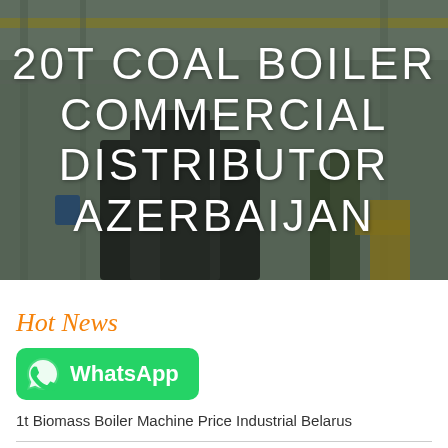[Figure (photo): Industrial boiler manufacturing facility interior with large industrial equipment, steel structures, and overhead cranes. Dark overlay with white text overlay.]
20T COAL BOILER COMMERCIAL DISTRIBUTOR AZERBAIJAN
Hot News
[Figure (logo): WhatsApp button with green background, WhatsApp phone icon, and white bold text reading WhatsApp]
1t Biomass Boiler Machine Price Industrial Belarus
Agent 4t Gas Boiler Brand High Efficiency Latvia